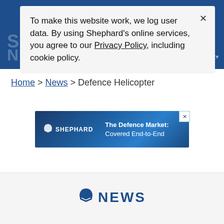SHEPHARD NEWS
To make this website work, we log user data. By using Shephard's online services, you agree to our Privacy Policy, including cookie policy.
Home > News > Defence Helicopter
[Figure (screenshot): Shephard advertisement banner: 'The Defence Market: Covered End-to-End']
[Figure (logo): Shephard News logo at bottom of page]